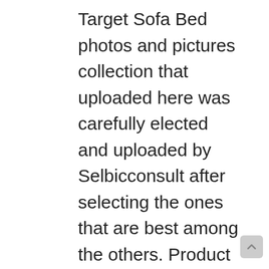Target Sofa Bed photos and pictures collection that uploaded here was carefully elected and uploaded by Selbicconsult after selecting the ones that are best among the others. Product Title Marshmallow Furniture 2-in-1 Flip Open Couch Bed Kid … Average rating: 4.4 out of 5 stars, based on 46 reviews 46